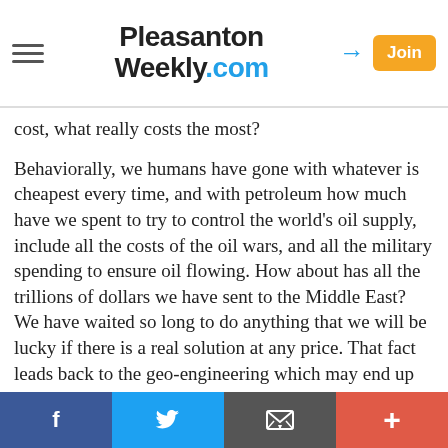Pleasanton Weekly.com
cost, what really costs the most?
Behaviorally, we humans have gone with whatever is cheapest every time, and with petroleum how much have we spent to try to control the world's oil supply, include all the costs of the oil wars, and all the military spending to ensure oil flowing. How about has all the trillions of dollars we have sent to the Middle East? We have waited so long to do anything that we will be lucky if there is a real solution at any price. That fact leads back to the geo-engineering which may end up looking to those in charge who might have to come up with a solution as "the" solution - whether it even works or not.
The calculus on this issue is skewed by the class of people who have input to its solution.
Social share bar: Facebook, Twitter, Email, More